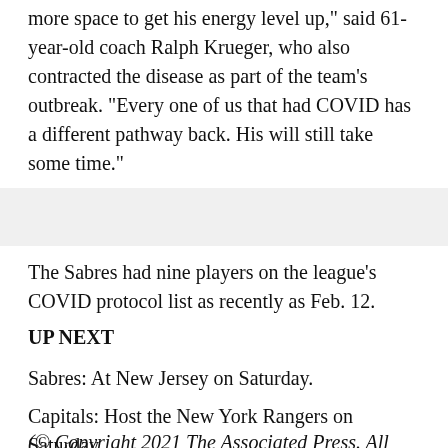more space to get his energy level up," said 61-year-old coach Ralph Krueger, who also contracted the disease as part of the team's outbreak. "Every one of us that had COVID has a different pathway back. His will still take some time."
The Sabres had nine players on the league's COVID protocol list as recently as Feb. 12.
UP NEXT
Sabres: At New Jersey on Saturday.
Capitals: Host the New York Rangers on Saturday.
(© Copyright 2021 The Associated Press. All Rights